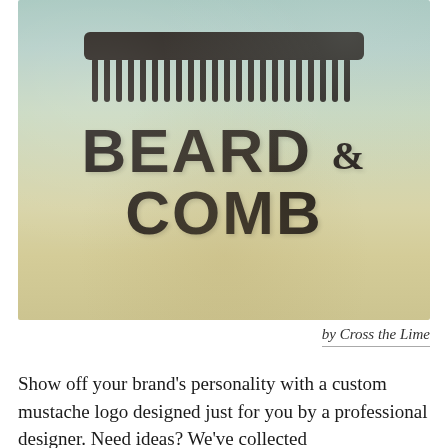[Figure (logo): Beard & Comb logo on a teal-to-beige textured background with a large comb silhouette above the text 'BEARD & COMB' in bold block letters]
by Cross the Lime
Show off your brand's personality with a custom mustache logo designed just for you by a professional designer. Need ideas? We've collected